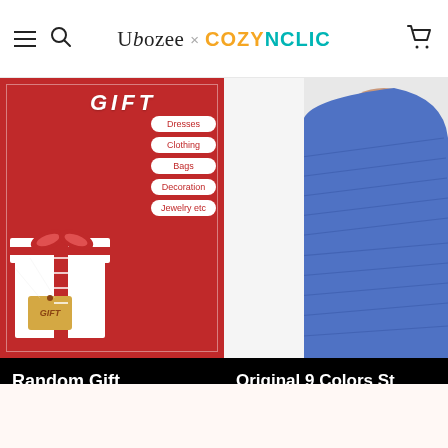Ubozee × COZYNCLIC
[Figure (photo): Red gift box promo banner with categories: Dresses, Clothing, Bags, Decoration, Jewelry etc]
Random Gift
$1.99
[Figure (photo): Blue knitted sleevelet product photo on white background]
Original 9 Colors Stnitted Sleevelet
$9.99
CATEGORIES
Home
New Arrival
Best Seller